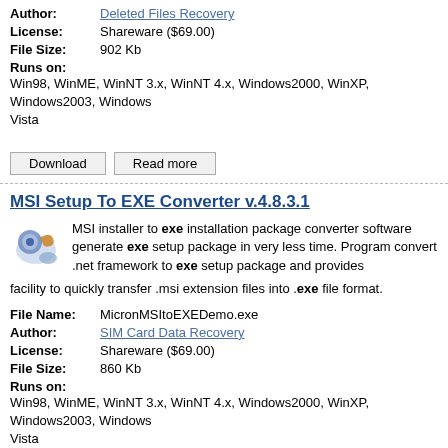Author: Deleted Files Recovery
License: Shareware ($69.00)
File Size: 902 Kb
Runs on: Win98, WinME, WinNT 3.x, WinNT 4.x, Windows2000, WinXP, Windows2003, Windows Vista
Download   Read more
MSI Setup To EXE Converter  v.4.8.3.1
MSI installer to exe installation package converter software generate exe setup package in very less time. Program convert .net framework to exe setup package and provides facility to quickly transfer .msi extension files into .exe file format.
File Name: MicronMSItoEXEDemo.exe
Author: SIM Card Data Recovery
License: Shareware ($69.00)
File Size: 860 Kb
Runs on: Win98, WinME, WinNT 3.x, WinNT 4.x, Windows2000, WinXP, Windows2003, Windows Vista
Download   Read more